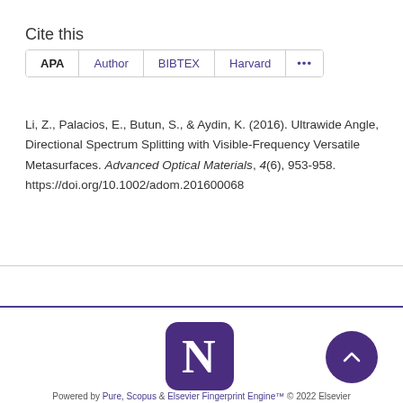Cite this
APA | Author | BIBTEX | Harvard | ...
Li, Z., Palacios, E., Butun, S., & Aydin, K. (2016). Ultrawide Angle, Directional Spectrum Splitting with Visible-Frequency Versatile Metasurfaces. Advanced Optical Materials, 4(6), 953-958. https://doi.org/10.1002/adom.201600068
[Figure (logo): Northwestern University N logo in purple square with rounded corners]
Powered by Pure, Scopus & Elsevier Fingerprint Engine™ © 2022 Elsevier